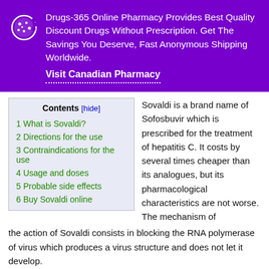[Figure (infographic): Purple pharmacy advertisement banner with cookie/pill icon. Text: 'Drugs-365 Online Pharmacy Provides Best Quality Discount Drugs Without Prescription. Get The Savings You Deserve, Fast Anonymous Shipping Worldwide. Visit Canadian Pharmacy']
1 What is Sovaldi?
2 Directions for the use
3 Contraindications for the use
4 Usage and doses
5 Probable side effects
6 Buy Sovaldi online
Sovaldi is a brand name of Sofosbuvir which is prescribed for the treatment of hepatitis C. It costs by several times cheaper than its analogues, but its pharmacological characteristics are not worse. The mechanism of the action of Sovaldi consists in blocking the RNA polymerase of virus which produces a virus structure and does not let it develop.